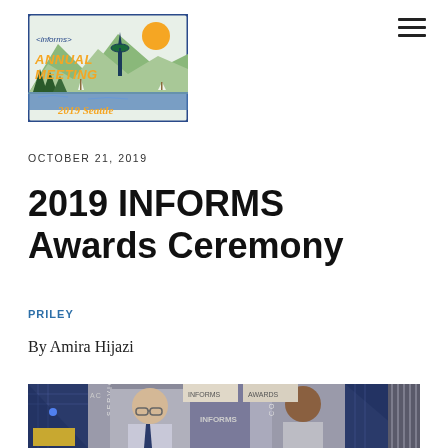[Figure (logo): INFORMS Annual Meeting 2019 Seattle logo with Space Needle and mountain graphic]
OCTOBER 21, 2019
2019 INFORMS Awards Ceremony
PRILEY
By Amira Hijazi
[Figure (photo): Two men standing at the INFORMS Awards Ceremony, with award banners visible in the background]